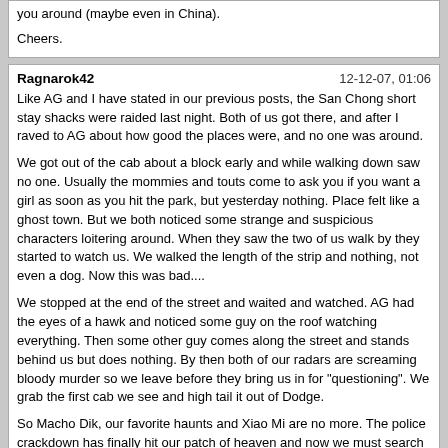you around (maybe even in China).

Cheers.
Ragnarok42
12-12-07, 01:06

Like AG and I have stated in our previous posts, the San Chong short stay shacks were raided last night. Both of us got there, and after I raved to AG about how good the places were, and no one was around.

We got out of the cab about a block early and while walking down saw no one. Usually the mommies and touts come to ask you if you want a girl as soon as you hit the park, but yesterday nothing. Place felt like a ghost town. But we both noticed some strange and suspicious characters loitering around. When they saw the two of us walk by they started to watch us. We walked the length of the strip and nothing, not even a dog. Now this was bad....

We stopped at the end of the street and waited and watched. AG had the eyes of a hawk and noticed some guy on the roof watching everything. Then some other guy comes along the street and stands behind us but does nothing. By then both of our radars are screaming bloody murder so we leave before they bring us in for "questioning". We grab the first cab we see and high tail it out of Dodge.

So Macho Dik, our favorite haunts and Xiao Mi are no more. The police crackdown has finally hit our patch of heaven and now we must search for newer pastures. PM when you come back to Taiwan and lets compare notes on other places of interest.

Cheers everyone and stay safe out there. Seems the police crackdowns are increasing in intensity so lets keep a low profile for the time being.
WindWalker
12-12-07, 04:39

Thanks for being so gracious AG and it was really nice to meet you too. Some of your war stories made my dick wither..